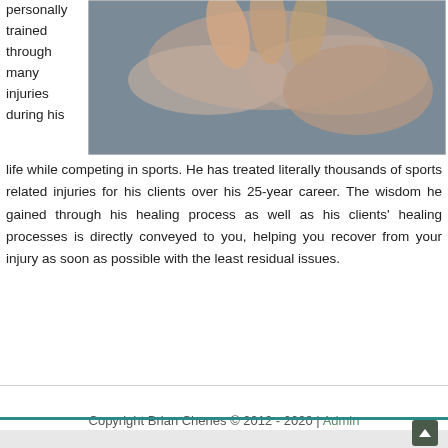personally trained through many injuries during his
[Figure (photo): Close-up photo of hands touching or massaging, with a gray background — appears to be a sports therapy or massage context.]
life while competing in sports. He has treated literally thousands of sports related injuries for his clients over his 25-year career. The wisdom he gained through his healing process as well as his clients' healing processes is directly conveyed to you, helping you recover from your injury as soon as possible with the least residual issues.
Copyright Brian Chenes © 2012 - 2020 | Admin